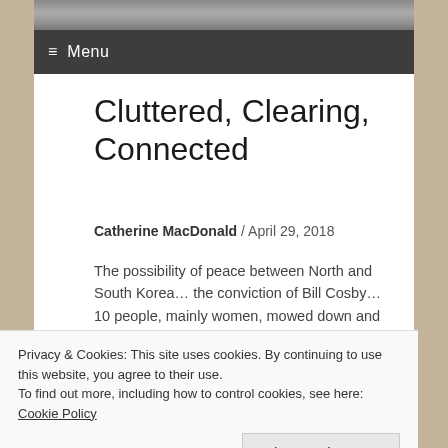≡ Menu
Cluttered, Clearing, Connected
Catherine MacDonald / April 29, 2018
The possibility of peace between North and South Korea… the conviction of Bill Cosby… 10 people, mainly women, mowed down and killed by a driver… many more injured… a calm police officer… the death of a Edna DeMann's brother… a
Privacy & Cookies: This site uses cookies. By continuing to use this website, you agree to their use.
To find out more, including how to control cookies, see here: Cookie Policy
Close and accept